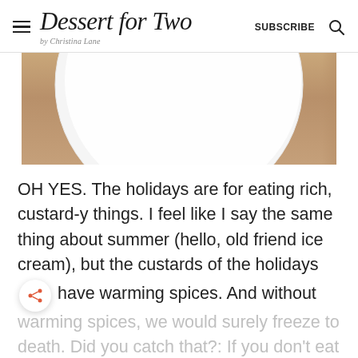Dessert for Two by Christina Lane — SUBSCRIBE
[Figure (photo): Close-up photo of a white plate on a wooden table surface, partially visible from above]
OH YES. The holidays are for eating rich, custard-y things. I feel like I say the same thing about summer (hello, old friend ice cream), but the custards of the holidays have warming spices. And without warming spices, we would surely freeze to death. Did you catch that?: If you don't eat